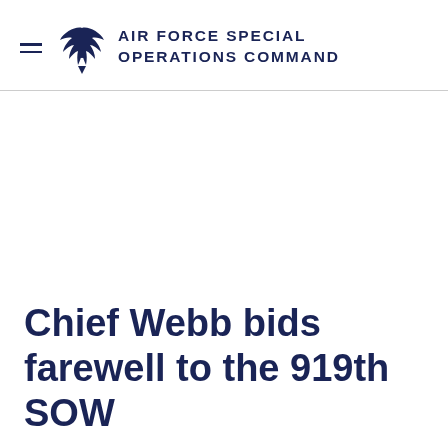AIR FORCE SPECIAL OPERATIONS COMMAND
Chief Webb bids farewell to the 919th SOW